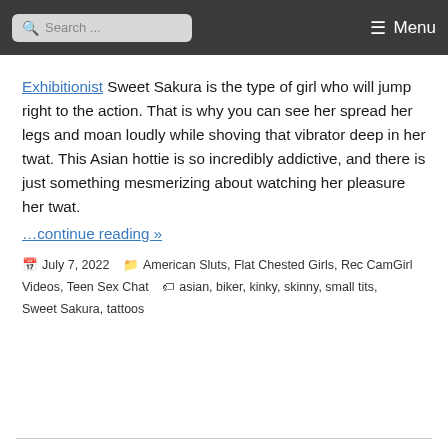Search ... Menu
Exhibitionist Sweet Sakura is the type of girl who will jump right to the action. That is why you can see her spread her legs and moan loudly while shoving that vibrator deep in her twat. This Asian hottie is so incredibly addictive, and there is just something mesmerizing about watching her pleasure her twat.
…continue reading »
July 7, 2022   American Sluts, Flat Chested Girls, Rec CamGirl Videos, Teen Sex Chat   asian, biker, kinky, skinny, small tits, Sweet Sakura, tattoos